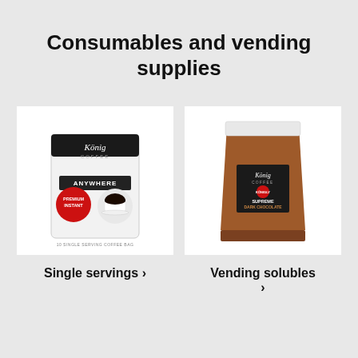Consumables and vending supplies
[Figure (photo): König Coffee Anywhere single-serving coffee bag product — white pouch with black top, König Coffee branding, ANYWHERE label, red circular badge, image of a coffee cup]
Single servings ›
[Figure (photo): König Coffee Supreme Dark Chocolate vending soluble — large brown powder bag with König Coffee and red badge branding, label reads SUPREME DARK CHOCOLATE]
Vending solubles ›